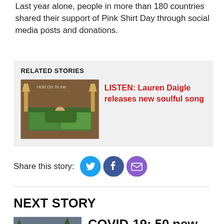Last year alone, people in more than 180 countries shared their support of Pink Shirt Day through social media posts and donations.
RELATED STORIES
[Figure (photo): Album art showing a person in a green outfit lying on a green velvet couch in a brown wood-paneled room with lamps]
LISTEN: Lauren Daigle releases new soulful song
Share this story:
[Figure (infographic): Social share icons: Twitter (blue circle), Facebook (dark blue circle), Email (purple circle)]
NEXT STORY
[Figure (photo): Outdoor scene with trees and a dark cloudy sky]
COVID-19: 50 new